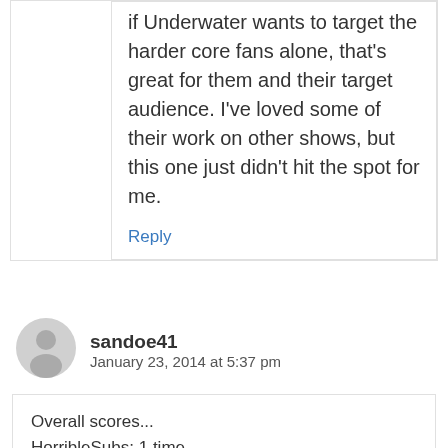if Underwater wants to target the harder core fans alone, that's great for them and their target audience. I've loved some of their work on other shows, but this one just didn't hit the spot for me.
Reply
sandoe41
January 23, 2014 at 5:37 pm
Overall scores...
HorribleSubs: 1 time